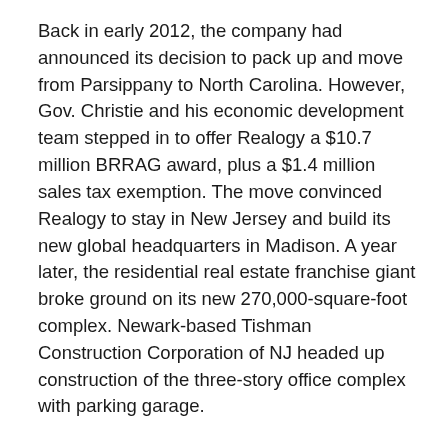Back in early 2012, the company had announced its decision to pack up and move from Parsippany to North Carolina. However, Gov. Christie and his economic development team stepped in to offer Realogy a $10.7 million BRRAG award, plus a $1.4 million sales tax exemption. The move convinced Realogy to stay in New Jersey and build its new global headquarters in Madison. A year later, the residential real estate franchise giant broke ground on its new 270,000-square-foot complex. Newark-based Tishman Construction Corporation of NJ headed up construction of the three-story office complex with parking garage.
Incidentally, BRRAG – which allows the state to give an annual corporate income tax credit of $3,000 per employee to businesses considering expansion or threatening to leave the state – has helped to create